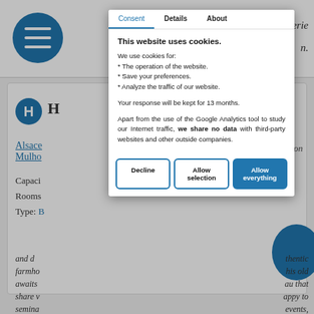[Figure (screenshot): Background webpage showing a hamburger menu icon, navigation tabs (Consent, Details, About), hotel listing with H badge, Alsace/Mulhouse location, capacity and rooms info, and descriptive italic text about a farmhouse.]
Consent | Details | About
This website uses cookies.
We use cookies for:
* The operation of the website.
* Save your preferences.
* Analyze the traffic of our website.
Your response will be kept for 13 months.
Apart from the use of the Google Analytics tool to study our Internet traffic, we share no data with third-party websites and other outside companies.
Decline | Allow selection | Allow everything